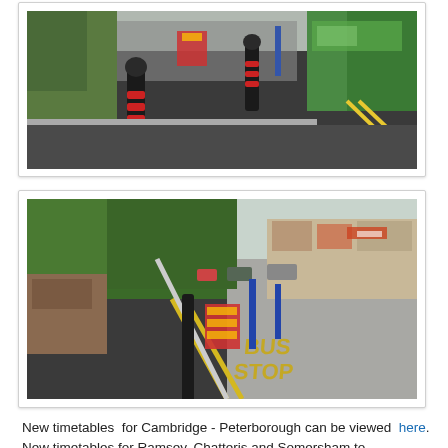[Figure (photo): Street scene showing black and red bollards on a dark asphalt pavement area, with a green bus visible on the right and double yellow lines on the road. Red temporary barriers visible in the background.]
[Figure (photo): Street view showing a bus stop area with double yellow lines reading 'BUS STOP', a black pole, red temporary barriers, green trees on the left, and shops/buildings visible in the background along the road.]
New timetables  for Cambridge - Peterborough can be viewed  here.
New timetables for Ramsey, Chatteris and Somersham to